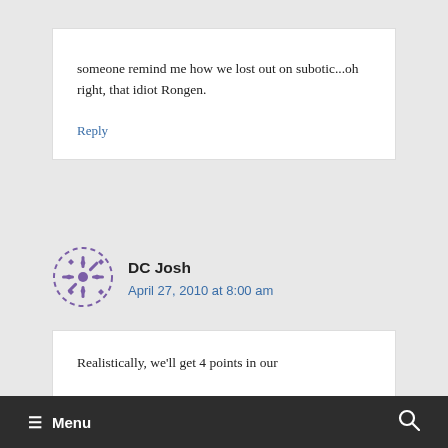someone remind me how we lost out on subotic...oh right, that idiot Rongen.
Reply
[Figure (illustration): Purple decorative avatar icon with snowflake-like pattern, dashed circular border]
DC Josh
April 27, 2010 at 8:00 am
Realistically, we'll get 4 points in our
≡ Menu   🔍